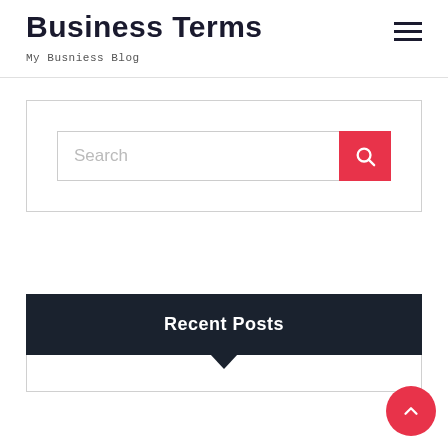Business Terms
My Busniess Blog
[Figure (other): Search bar widget with text input placeholder 'Search' and a red search button with magnifying glass icon]
Recent Posts